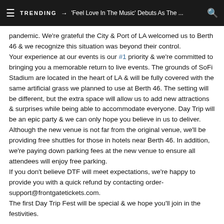TRENDING → 'Feel Love In The Music' Debuts As The ...
pandemic. We're grateful the City & Port of LA welcomed us to Berth 46 & we recognize this situation was beyond their control.
Your experience at our events is our #1 priority & we're committed to bringing you a memorable return to live events. The grounds of SoFi Stadium are located in the heart of LA & will be fully covered with the same artificial grass we planned to use at Berth 46. The setting will be different, but the extra space will allow us to add new attractions & surprises while being able to accommodate everyone. Day Trip will be an epic party & we can only hope you believe in us to deliver.
Although the new venue is not far from the original venue, we'll be providing free shuttles for those in hotels near Berth 46. In addition, we're paying down parking fees at the new venue to ensure all attendees will enjoy free parking.
If you don't believe DTF will meet expectations, we're happy to provide you with a quick refund by contacting order-support@frontgatetickets.com.
The first Day Trip Fest will be special & we hope you'll join in the festivities.